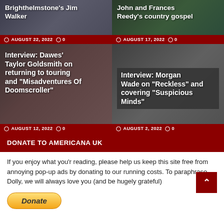Brighthelmstone's Jim Walker
AUGUST 22, 2022  0
John and Frances Reedy's country gospel
AUGUST 17, 2022  0
Interview: Dawes' Taylor Goldsmith on returning to touring and "Misadventures Of Doomscroller"
AUGUST 12, 2022  0
Interview: Morgan Wade on "Reckless" and covering "Suspicious Minds"
AUGUST 2, 2022  0
DONATE TO AMERICANA UK
If you enjoy what you'r reading, please help us keep this site free from annoying pop-up ads by donating to our running costs. To paraphrase Dolly, we will always love you (and be hugely grateful)
[Figure (other): PayPal Donate button]